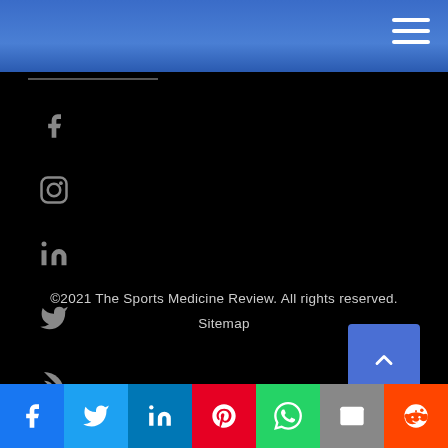[Figure (screenshot): Website header navigation bar with blue gradient background and white hamburger menu icon in top right]
[Figure (screenshot): Social media icons column: Facebook, Instagram, LinkedIn, Twitter, RSS, YouTube — all in dark gray on black background]
©2021 The Sports Medicine Review. All rights reserved.
Sitemap
[Figure (screenshot): Social media share bar at bottom: Facebook (blue), Twitter (light blue), LinkedIn (dark blue), Pinterest (red), WhatsApp (green), Email (gray), Reddit (orange)]